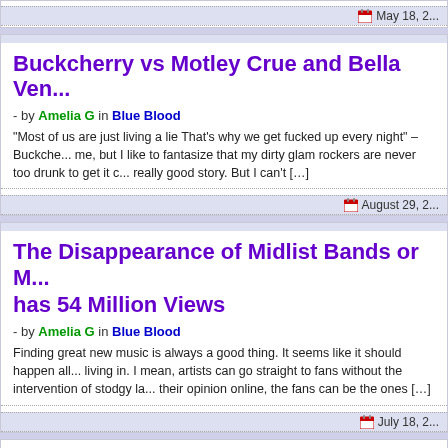Buckcherry vs Motley Crue and Bella Ven...
- by Amelia G in Blue Blood
“Most of us are just living a lie That’s why we get fucked up every night” –Buckche... me, but I like to fantasize that my dirty glam rockers are never too drunk to get it c... really good story. But I can’t […]
August 29, 2...
The Disappearance of Midlist Bands or M... has 54 Million Views
- by Amelia G in Blue Blood
Finding great new music is always a good thing. It seems like it should happen all... living in. I mean, artists can go straight to fans without the intervention of stodgy la... their opinion online, the fans can be the ones […]
July 18, 2...
What did you do f... Independence Day...